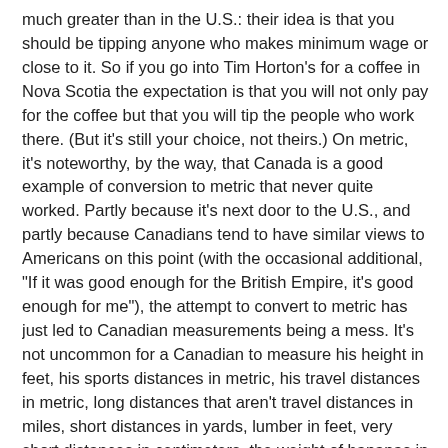much greater than in the U.S.: their idea is that you should be tipping anyone who makes minimum wage or close to it. So if you go into Tim Horton's for a coffee in Nova Scotia the expectation is that you will not only pay for the coffee but that you will tip the people who work there. (But it's still your choice, not theirs.) On metric, it's noteworthy, by the way, that Canada is a good example of conversion to metric that never quite worked. Partly because it's next door to the U.S., and partly because Canadians tend to have similar views to Americans on this point (with the occasional additional, "If it was good enough for the British Empire, it's good enough for me"), the attempt to convert to metric has just led to Canadian measurements being a mess. It's not uncommon for a Canadian to measure his height in feet, his sports distances in metric, his travel distances in metric, long distances that aren't travel distances in miles, short distances in yards, lumber in feet, very short distances in centimeters, the weight of bananas in metric, his own weight in pounds, temperatures in Celsius (usually) &c. Among common measures only speeds are consistently measured in metric. I'm even told that while houses are technically designed in metric, they aren't built in it. But -- and this is